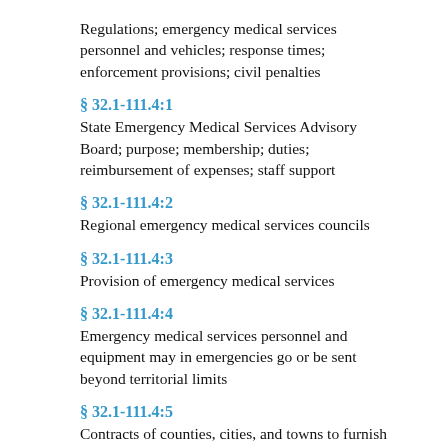Regulations; emergency medical services personnel and vehicles; response times; enforcement provisions; civil penalties
§ 32.1-111.4:1
State Emergency Medical Services Advisory Board; purpose; membership; duties; reimbursement of expenses; staff support
§ 32.1-111.4:2
Regional emergency medical services councils
§ 32.1-111.4:3
Provision of emergency medical services
§ 32.1-111.4:4
Emergency medical services personnel and equipment may in emergencies go or be sent beyond territorial limits
§ 32.1-111.4:5
Contracts of counties, cities, and towns to furnish emergency medical services; public liability insurance